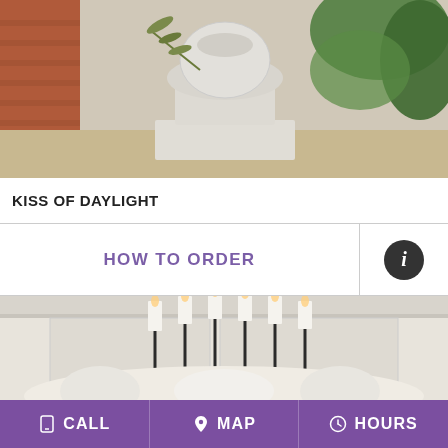[Figure (photo): Outdoor stone urn planter on a pedestal with green foliage and red brick wall in background]
KISS OF DAYLIGHT
HOW TO ORDER
[Figure (photo): Tall black candelabras with white pillar candles surrounded by white floral arrangements including hydrangeas and tulips against a white paneled wall]
CALL   MAP   HOURS